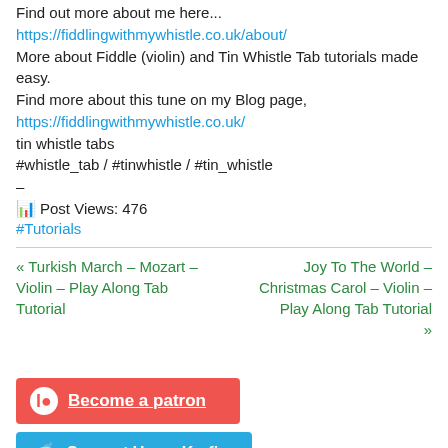Find out more about me here...
https://fiddlingwithmywhistle.co.uk/about/
More about Fiddle (violin) and Tin Whistle Tab tutorials made easy.
Find more about this tune on my Blog page,
https://fiddlingwithmywhistle.co.uk/
tin whistle tabs
#whistle_tab / #tinwhistle / #tin_whistle
–
Post Views: 476
#Tutorials
« Turkish March – Mozart – Violin – Play Along Tab Tutorial
Joy To The World – Christmas Carol – Violin – Play Along Tab Tutorial »
[Figure (other): Red Patreon button with circle icon and 'Become a patron' text]
[Figure (other): Blue Ko-fi button with heart/coffee icon and 'Support Us on Ko-fi' text]